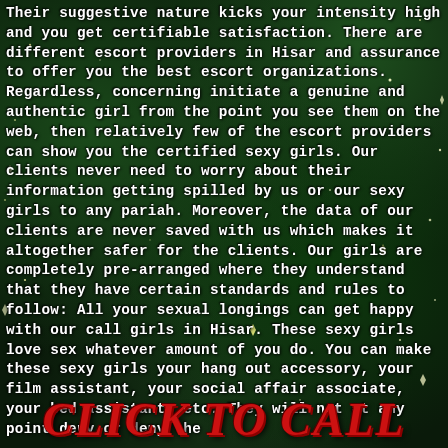Their suggestive nature kicks your intensity high and you get certifiable satisfaction. There are different escort providers in Hisar and assurance to offer you the best escort organizations. Regardless, concerning initiate a genuine and authentic girl from the point you see them on the web, then relatively few of the escort providers can show you the certified sexy girls. Our clients never need to worry about their information getting spilled by us or our sexy girls to any pariah. Moreover, the data of our clients are never saved with us which makes it altogether safer for the clients. Our girls are completely pre-arranged where they understand that they have certain standards and rules to follow: All your sexual longings can get happy with our call girls in Hisar. These sexy girls love sex whatever amount of you do. You can make these sexy girls your hang out accessory, your film assistant, your social affair associate, your bed assistant, etc. They will not at any point deny or deny the
CLICK TO CALL